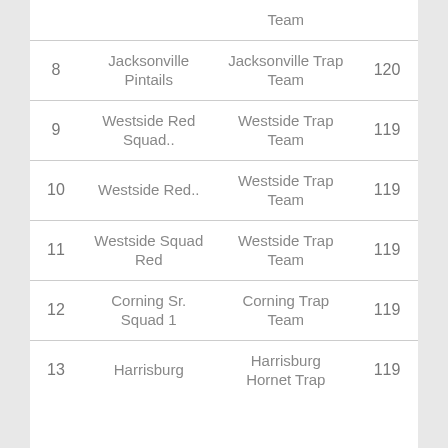| Rank | Squad | Team | Score |
| --- | --- | --- | --- |
|  |  | Team |  |
| 8 | Jacksonville Pintails | Jacksonville Trap Team | 120 |
| 9 | Westside Red Squad.. | Westside Trap Team | 119 |
| 10 | Westside Red.. | Westside Trap Team | 119 |
| 11 | Westside Squad Red | Westside Trap Team | 119 |
| 12 | Corning Sr. Squad 1 | Corning Trap Team | 119 |
| 13 | Harrisburg | Harrisburg Hornet Trap | 119 |